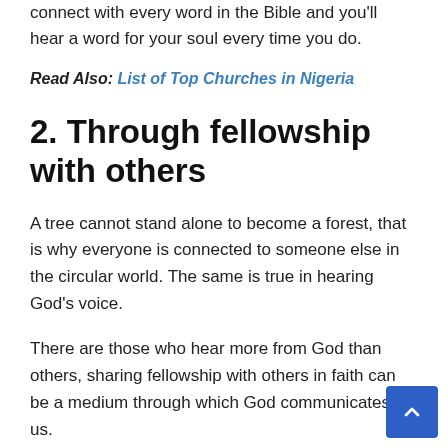connect with every word in the Bible and you'll hear a word for your soul every time you do.
Read Also: List of Top Churches in Nigeria
2. Through fellowship with others
A tree cannot stand alone to become a forest, that is why everyone is connected to someone else in the circular world. The same is true in hearing God’s voice.
There are those who hear more from God than others, sharing fellowship with others in faith can be a medium through which God communicates to us.